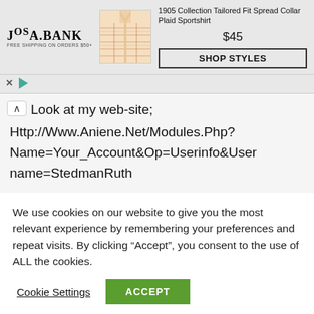[Figure (screenshot): Jos. A. Bank advertisement banner showing a plaid sportshirt product. Logo on left with 'JOS A. BANK' and 'FREE SHIPPING ON ORDERS $50+'. Image of plaid shirt in center. Product name '1905 Collection Tailored Fit Spread Collar Plaid Sportshirt', price '$45', and 'SHOP STYLES' button on right.]
Look at my web-site; Http://Www.Aniene.Net/Modules.Php?Name=Your_Account&Op=Userinfo&Username=StedmanRuth
Reply
We use cookies on our website to give you the most relevant experience by remembering your preferences and repeat visits. By clicking “Accept”, you consent to the use of ALL the cookies.
Cookie Settings
ACCEPT